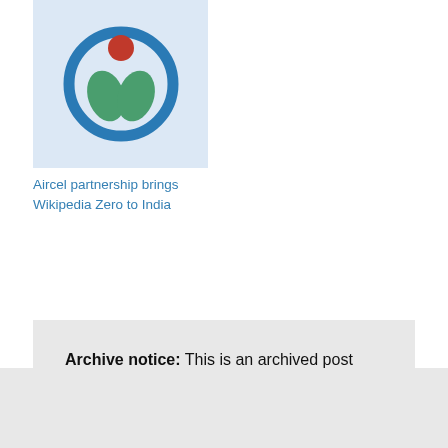[Figure (logo): Wikimedia logo — teal circular arc with a green leaf shape and a red circle at top, on a light blue background]
Aircel partnership brings Wikipedia Zero to India
Archive notice: This is an archived post from blog.wikimedia.org, which operated under different editorial and content guidelines than Diff.